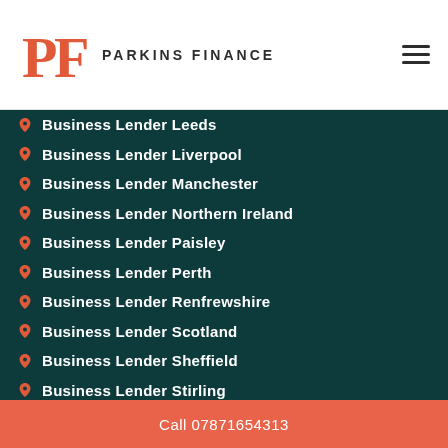Parkins Finance
Business Lender Leeds
Business Lender Liverpool
Business Lender Manchester
Business Lender Northern Ireland
Business Lender Paisley
Business Lender Perth
Business Lender Renfrewshire
Business Lender Scotland
Business Lender Sheffield
Business Lender Stirling
Call 07871654313